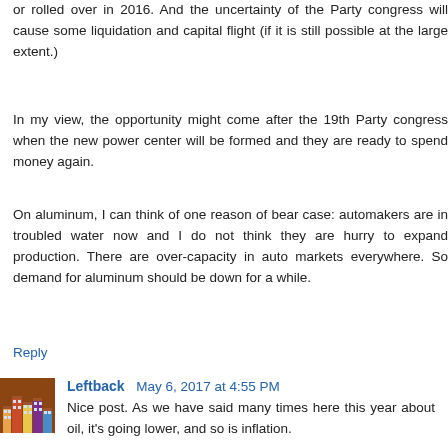or rolled over in 2016. And the uncertainty of the Party congress will cause some liquidation and capital flight (if it is still possible at the large extent.)
In my view, the opportunity might come after the 19th Party congress when the new power center will be formed and they are ready to spend money again.
On aluminum, I can think of one reason of bear case: automakers are in troubled water now and I do not think they are hurry to expand production. There are over-capacity in auto markets everywhere. So demand for aluminum should be down for a while.
Reply
Leftback  May 6, 2017 at 4:55 PM
Nice post. As we have said many times here this year about oil, it's going lower, and so is inflation.
Reply